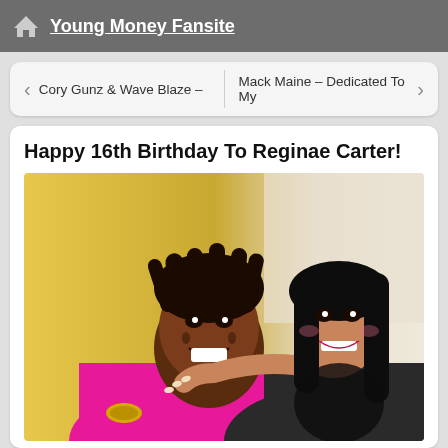Young Money Fansite
Cory Gunz & Wave Blaze –
Mack Maine – Dedicated To My
Happy 16th Birthday To Reginae Carter!
[Figure (photo): A man with dreadlocks wearing a pink shirt smiling broadly, with a young woman in a dark outfit with pink lipstick smiling and hugging him from behind, taken indoors with yellow and white backgrounds.]